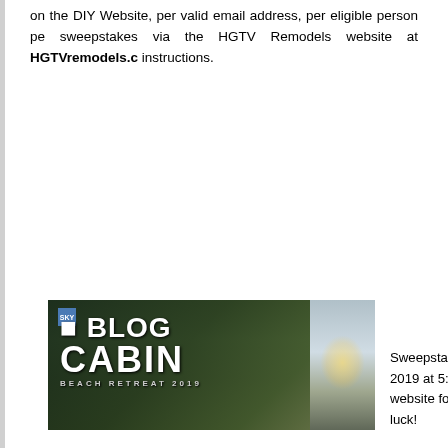on the DIY Website, per valid email address, per eligible person per sweepstakes via the HGTV Remodels website at HGTVremodels.c instructions.
[Figure (photo): Blog Cabin Beach Retreat 2019 promotional banner image showing a cabin/house near water with trees at night, with the text BLOG CABIN BEACH RETREAT 2019]
Sweepstakes 2019 at 5:0 website for m luck!